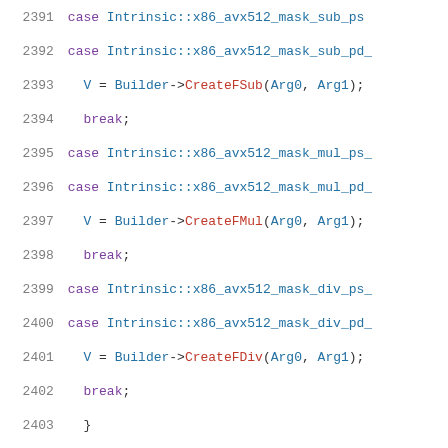Source code listing, lines 2391-2412, showing C++ switch-case code for AVX-512 intrinsic masking operations